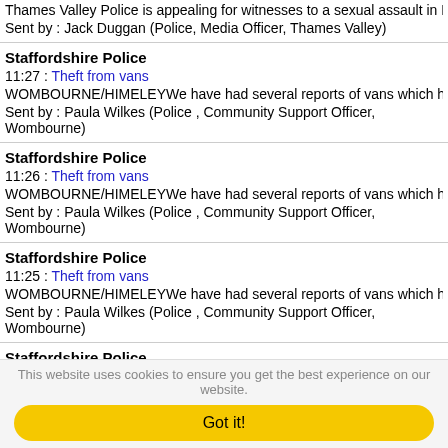Thames Valley Police is appealing for witnesses to a sexual assault in Milton Ke...
Sent by : Jack Duggan (Police, Media Officer, Thames Valley)
Staffordshire Police
11:27 : Theft from vans
WOMBOURNE/HIMELEYWe have had several reports of vans which have been s...
Sent by : Paula Wilkes (Police , Community Support Officer, Wombourne)
Staffordshire Police
11:26 : Theft from vans
WOMBOURNE/HIMELEYWe have had several reports of vans which have been s...
Sent by : Paula Wilkes (Police , Community Support Officer, Wombourne)
Staffordshire Police
11:25 : Theft from vans
WOMBOURNE/HIMELEYWe have had several reports of vans which have been s...
Sent by : Paula Wilkes (Police , Community Support Officer, Wombourne)
Staffordshire Police
11:24 : Theft from vans
WOMBOURNE/HIMELEYWe have had several reports of vans which have been s...
Sent by : Paula Wilkes (Police , Community Support Officer, Wombourne)
This website uses cookies to ensure you get the best experience on our website.
Got it!